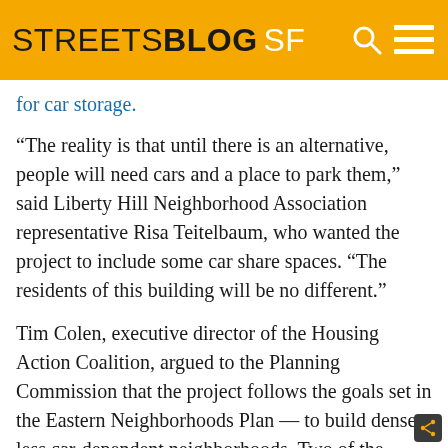STREETSBLOG SF
for car storage.
“The reality is that until there is an alternative, people will need cars and a place to park them,” said Liberty Hill Neighborhood Association representative Risa Teitelbaum, who wanted the project to include some car share spaces. “The residents of this building will be no different.”
Tim Colen, executive director of the Housing Action Coalition, argued to the Planning Commission that the project follows the goals set in the Eastern Neighborhoods Plan — to build denser, less car-dependent neighborhoods. Two of the project’s 12